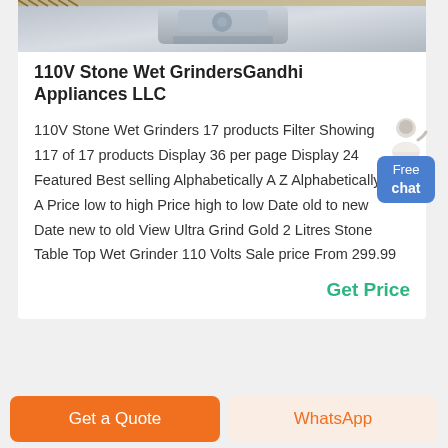[Figure (photo): Product image of stone wet grinder machinery, partial view at top of card]
110V Stone Wet GrindersGandhi Appliances LLC
110V Stone Wet Grinders 17 products Filter Showing 117 of 17 products Display 36 per page Display 24 Featured Best selling Alphabetically A Z Alphabetically Z A Price low to high Price high to low Date old to new Date new to old View Ultra Grind Gold 2 Litres Stone Table Top Wet Grinder 110 Volts Sale price From 299.99
Get Price
Free chat
Get a Quote
WhatsApp